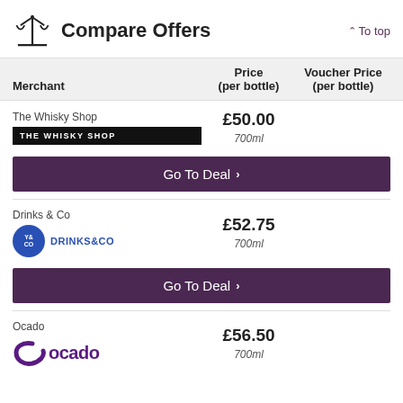Compare Offers
| Merchant | Price
(per bottle) | Voucher Price
(per bottle) |
| --- | --- | --- |
| The Whisky Shop | £50.00
700ml |  |
| Drinks & Co | £52.75
700ml |  |
| Ocado | £56.50
700ml |  |